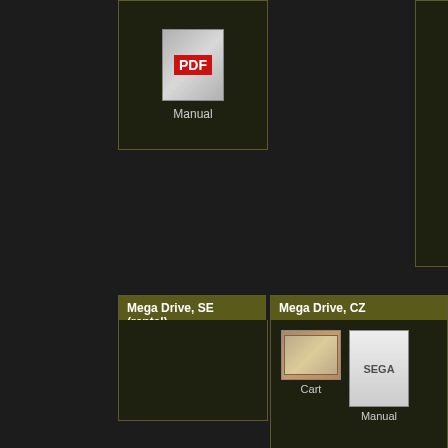[Figure (screenshot): Manual thumbnail with PDF badge label 'Manual']
[Figure (screenshot): Sonic the Hedgehog game cover image labeled 'Cover']
Mega Drive, SE (rental)
Mega Drive, CZ
[Figure (screenshot): Cart thumbnail labeled 'Cart' for Mega Drive CZ]
[Figure (screenshot): Manual thumbnail labeled 'Manual' for Mega Drive CZ]
Mega Drive, AU
[Figure (screenshot): Cart thumbnail labeled 'Cart' for Mega Drive AU]